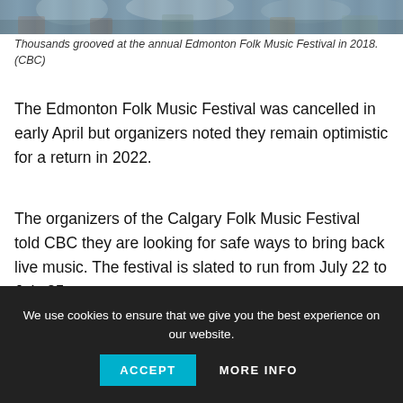[Figure (photo): Crowd at Edmonton Folk Music Festival 2018, people gathered outdoors]
Thousands grooved at the annual Edmonton Folk Music Festival in 2018. (CBC)
The Edmonton Folk Music Festival was cancelled in early April but organizers noted they remain optimistic for a return in 2022.
The organizers of the Calgary Folk Music Festival told CBC they are looking for safe ways to bring back live music. The festival is slated to run from July 22 to July 25.
Saskatchewan
We use cookies to ensure that we give you the best experience on our website.